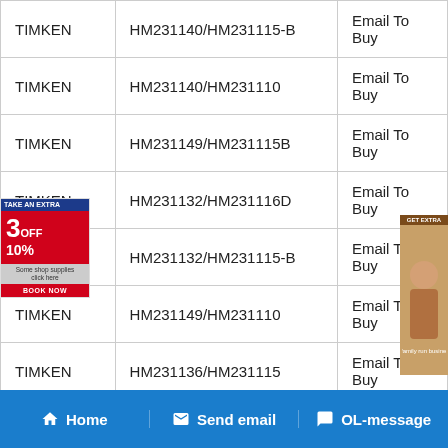| Brand | Part Number | Action |
| --- | --- | --- |
| TIMKEN | HM231140/HM231115-B | Email To Buy |
| TIMKEN | HM231140/HM231110 | Email To Buy |
| TIMKEN | HM231149/HM231115B | Email To Buy |
| TIMKEN | HM231132/HM231116D | Email To Buy |
| TIMKEN | HM231132/HM231115-B | Email To Buy |
| TIMKEN | HM231149/HM231110 | Email To Buy |
| TIMKEN | HM231136/HM231115 | Email To Buy |
| TIMKEN | HM231132/HM231115 | Email To Buy |
| TIMKEN | HM231149/HM231115 | Email To Buy |
| TIMKEN | HM231148/HM231110 | Email To Buy |
| TIMKEN | HM231132/HM231110 | Email To Buy |
Home   Send email   OL-message